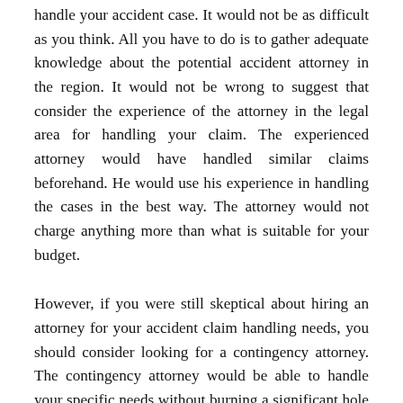handle your accident case. It would not be as difficult as you think. All you have to do is to gather adequate knowledge about the potential accident attorney in the region. It would not be wrong to suggest that consider the experience of the attorney in the legal area for handling your claim. The experienced attorney would have handled similar claims beforehand. He would use his experience in handling the cases in the best way. The attorney would not charge anything more than what is suitable for your budget.
However, if you were still skeptical about hiring an attorney for your accident claim handling needs, you should consider looking for a contingency attorney. The contingency attorney would be able to handle your specific needs without burning a significant hole in your pocket. The attorney would be providing to your specific needs with their experience in handling accident claims. The experienced attorney would also have great